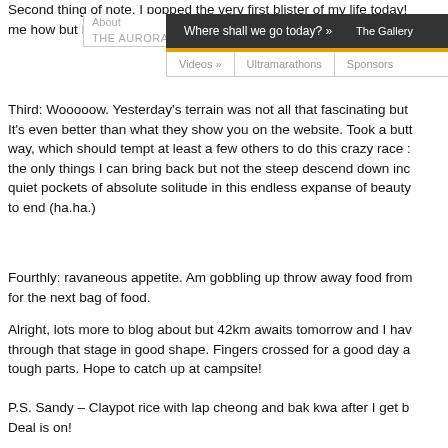Second thing of note. I popped the very first blister of my life today! … me how but I learned an important life skill then and any day you lea…
[Figure (screenshot): Navigation bar overlay with dark background showing links: 'Where shall we go today? »' and 'The Gallery', with orange divider and secondary nav showing 'Videos »', 'Ultramarathons', 'Sponsors', and 'About' and 'THE AURORA X EGBOK PROJECT »' sub-links]
Third: Wooooow. Yesterday's terrain was not all that fascinating but … It's even better than what they show you on the website. Took a butt… way, which should tempt at least a few others to do this crazy race :… the only things I can bring back but not the steep descend down inc… quiet pockets of absolute solitude in this endless expanse of beauty… to end (ha.ha.)
Fourthly: ravaneous appetite. Am gobbling up throw away food from… for the next bag of food.
Alright, lots more to blog about but 42km awaits tomorrow and I ha… through that stage in good shape. Fingers crossed for a good day a… tough parts. Hope to catch up at campsite!
P.S. Sandy – Claypot rice with lap cheong and bak kwa after I get b… Deal is on!